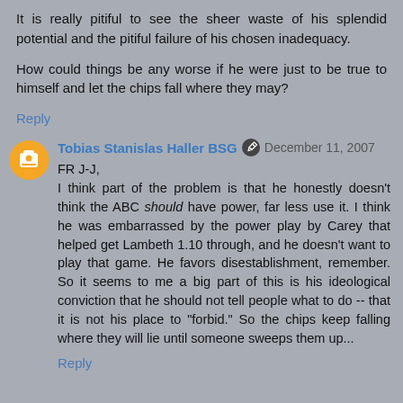It is really pitiful to see the sheer waste of his splendid potential and the pitiful failure of his chosen inadequacy.
How could things be any worse if he were just to be true to himself and let the chips fall where they may?
Reply
Tobias Stanislas Haller BSG  December 11, 2007
FR J-J,
I think part of the problem is that he honestly doesn't think the ABC should have power, far less use it. I think he was embarrassed by the power play by Carey that helped get Lambeth 1.10 through, and he doesn't want to play that game. He favors disestablishment, remember. So it seems to me a big part of this is his ideological conviction that he should not tell people what to do -- that it is not his place to "forbid." So the chips keep falling where they will lie until someone sweeps them up...
Reply